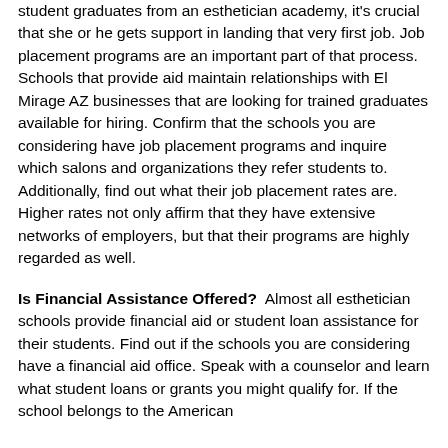student graduates from an esthetician academy, it's crucial that she or he gets support in landing that very first job. Job placement programs are an important part of that process. Schools that provide aid maintain relationships with El Mirage AZ businesses that are looking for trained graduates available for hiring. Confirm that the schools you are considering have job placement programs and inquire which salons and organizations they refer students to. Additionally, find out what their job placement rates are. Higher rates not only affirm that they have extensive networks of employers, but that their programs are highly regarded as well.
Is Financial Assistance Offered?  Almost all esthetician schools provide financial aid or student loan assistance for their students. Find out if the schools you are considering have a financial aid office. Speak with a counselor and learn what student loans or grants you might qualify for. If the school belongs to the American